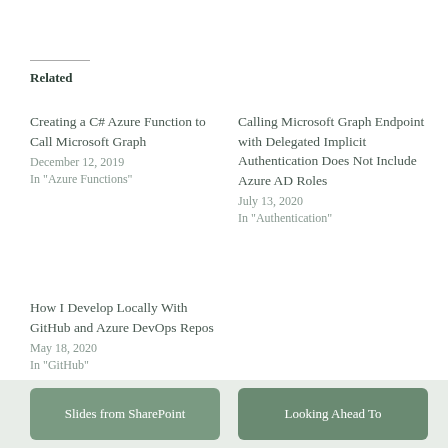Related
Creating a C# Azure Function to Call Microsoft Graph
December 12, 2019
In "Azure Functions"
Calling Microsoft Graph Endpoint with Delegated Implicit Authentication Does Not Include Azure AD Roles
July 13, 2020
In "Authentication"
How I Develop Locally With GitHub and Azure DevOps Repos
May 18, 2020
In "GitHub"
Slides from SharePoint    Looking Ahead To